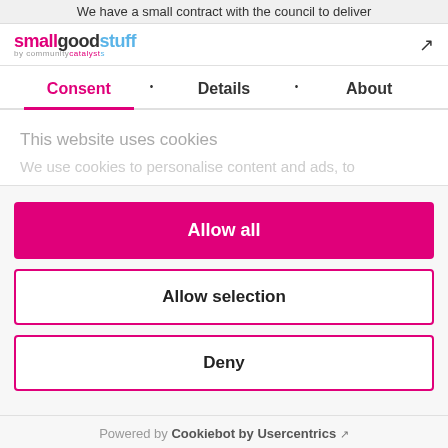We have a small contract with the council to deliver
[Figure (logo): smallgoodstuff by communitycatalysts logo]
Consent • Details • About
This website uses cookies
We use cookies to personalise content and ads, to
Allow all
Allow selection
Deny
Powered by Cookiebot by Usercentrics